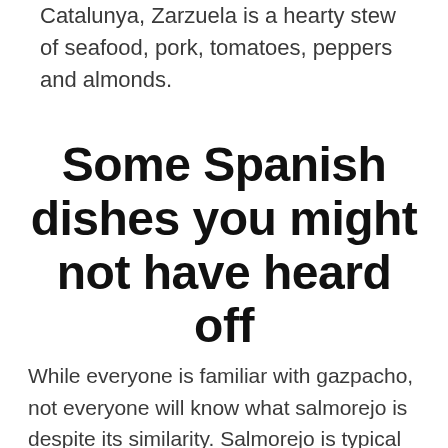Catalunya, Zarzuela is a hearty stew of seafood, pork, tomatoes, peppers and almonds.
Some Spanish dishes you might not have heard off
While everyone is familiar with gazpacho, not everyone will know what salmorejo is despite its similarity. Salmorejo is typical of southern Spain and is based on tomatoes and bread which give it a bright orange colour and a thicker texture than